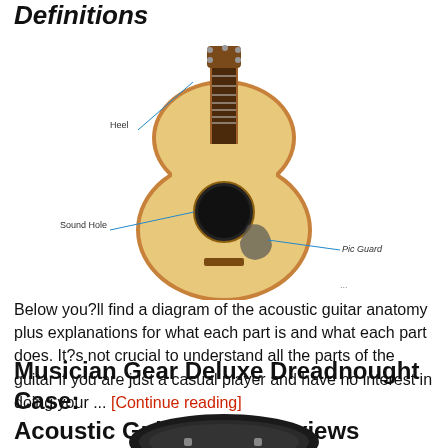Definitions
[Figure (illustration): Diagram of an acoustic guitar with labeled parts: Heel, Sound Hole, Pic Guard, and partially visible label at the bottom]
Below you?ll find a diagram of the acoustic guitar anatomy plus explanations for what each part is and what each part does. It?s not crucial to understand all the parts of the guitar if you are just a casual player and have no interest in doing your ... [Continue reading]
Musician Gear Deluxe Dreadnought Case: Acoustic Guitar Case Reviews
[Figure (photo): Partial photo of a dark guitar case, cropped at the bottom of the page]